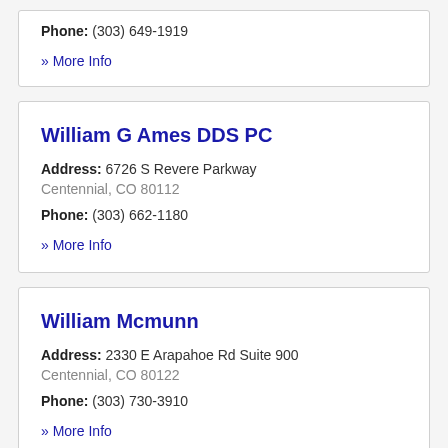Phone: (303) 649-1919
» More Info
William G Ames DDS PC
Address: 6726 S Revere Parkway Centennial, CO 80112
Phone: (303) 662-1180
» More Info
William Mcmunn
Address: 2330 E Arapahoe Rd Suite 900 Centennial, CO 80122
Phone: (303) 730-3910
» More Info